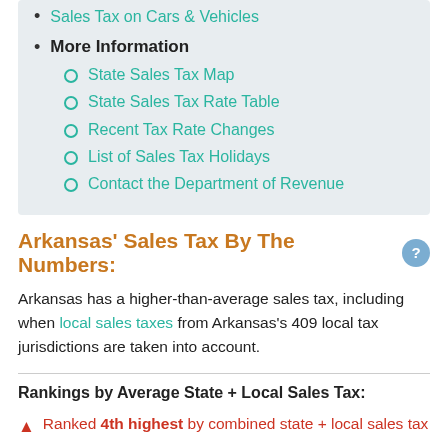Sales Tax on Cars & Vehicles
More Information
State Sales Tax Map
State Sales Tax Rate Table
Recent Tax Rate Changes
List of Sales Tax Holidays
Contact the Department of Revenue
Arkansas' Sales Tax By The Numbers:
Arkansas has a higher-than-average sales tax, including when local sales taxes from Arkansas's 409 local tax jurisdictions are taken into account.
Rankings by Average State + Local Sales Tax:
Ranked 4th highest by combined state + local sales tax